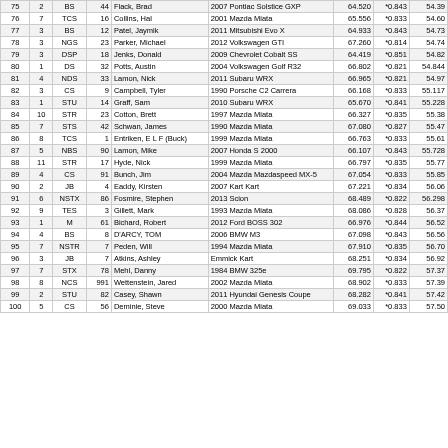|  |  |  |  |  |  |  |  |  |
| --- | --- | --- | --- | --- | --- | --- | --- | --- |
| 75 | 2 | BS | 44 | Flack, Brad | 2007 Pontiac Solstice GXP | 64.520 | *0.843 | 54.39 |
| 76 | 7 | TCS | 16 | Collins, Hal | 2001 Mazda Miata | 65.556 | *0.833 | 54.60 |
| 77 | 3 | BS | 12 | Patel, Jaymik | 2011 Mitsubishi Evo X | 64.933 | *0.843 | 54.73 |
| 78 | 3 | NGS | 23 | Parker, Michael | 2012 Volkswagen GTI | 67.260 | *0.814 | 54.74 |
| 79 | 3 | DSP | 18 | Jenks, Donald | 2009 Chevrolet Cobalt SS | 64.419 | *0.851 | 54.82 |
| 80 | 1 | DS | 32 | Potts, Austin | 2004 Volkswagen Golf R32 | 66.802 | *0.821 | 54.844 |
| 81 | 4 | NDS | 33 | Lamon, Nick | 2011 Subaru WRX | 66.965 | *0.821 | 54.97 |
| 82 | 3 | CS | 9 | Campbell, Tyler | 1990 Porsche C2 Carrera | 66.168 | *0.833 | 55.117 |
| 83 | 1 | STU | 14 | Graff, Sam | 2010 Subaru WRX | 65.670 | *0.841 | 55.228 |
| 84 | 10 | STR | 23 | Cotton, Brett | 1997 Mazda Miata | 66.327 | *0.835 | 55.38 |
| 85 | 7 | STS | 42 | Schwan, James | 1990 Mazda Miata | 67.080 | *0.827 | 55.47 |
| 86 | 8 | TCS | 1 | Entriken, E L F (Buck) | 1999 Mazda Miata | 66.763 | *0.833 | 55.61 |
| 87 | 5 | NBS | 90 | Lamon, Mike | 2007 Honda S 2000 | 66.107 | *0.843 | 55.728 |
| 88 | 11 | STR | 17 | Hyde, Nick | 1999 Mazda Miata | 66.797 | *0.835 | 55.77 |
| 89 | 4 | CS | 91 | Bunch, Jim | 2004 Mazda Mazdaspeed MX-5 | 67.054 | *0.833 | 55.85 |
| 90 | 2 | JB | 4 | Eaddy, Kirsten | 2007 Kart Kart | 67.221 | *0.834 | 56.06 |
| 91 | 6 | NSTX | 86 | Fosmire, Stephen | 2013 Scion | 68.489 | *0.822 | 56.298 |
| 92 | 9 | TES | 3 | Gillett, Mark | 1993 Mazda Miata | 68.086 | *0.828 | 56.37 |
| 93 | 1 | M | 61 | Bichard, Robert | 2012 Ford BOSS 302 | 66.976 | *0.844 | 56.52 |
| 94 | 4 | BS | 8 | D'ARCY, TOM | 2006 BMW M3 | 67.098 | *0.843 | 56.56 |
| 95 | 7 | NSTR | 7 | Peden, Will | 1994 Mazda Miata | 67.910 | *0.835 | 56.70 |
| 96 | 3 | JB | 7 | Atkins, Ashley | Emmick Kart | 68.251 | *0.834 | 56.92 |
| 97 | 7 | STX | 78 | Mehl, Danny | 1984 BMW 325e | 69.795 | *0.822 | 57.37 |
| 98 | 8 | NCS | 991 | Wettenstein, Jared | 2002 Mazda Miata | 68.902 | *0.833 | 57.39 |
| 99 | 2 | STU | 82 | Casey, Shawn | 2011 Hyundai Genesis Coupe | 68.282 | *0.841 | 57.42 |
| 100 | 5 | CS | 56 | Deminie, Steve | 2000 Mazda Miata | 69.033 | *0.833 | 57.50 |